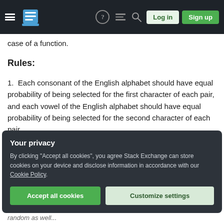Stack Exchange navigation bar with hamburger menu, logo, help, chat, search icons, Log in and Sign up buttons
case of a function.
Rules:
Each consonant of the English alphabet should have equal probability of being selected for the first character of each pair, and each vowel of the English alphabet should have equal probability of being selected for the second character of each pair.
Letter pairs may be repeated.
Your privacy
By clicking "Accept all cookies", you agree Stack Exchange can store cookies on your device and disclose information in accordance with our Cookie Policy.
Accept all cookies   Customize settings